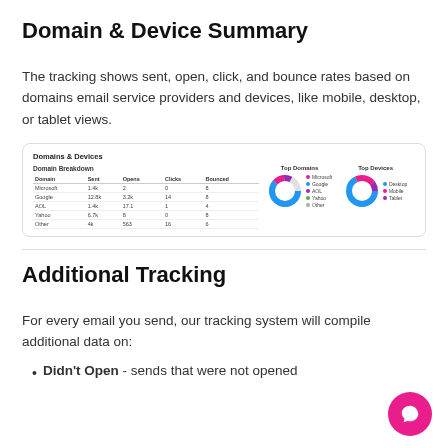Domain & Device Summary
The tracking shows sent, open, click, and bounce rates based on domains email service providers and devices, like mobile, desktop, or tablet views.
[Figure (screenshot): Screenshot of Domains & Devices panel showing Domain Breakdown table with rows for Microsoft, Google, AOL, Yahoo, Other, and two donut charts for Top Domains and Top Devices with legends.]
Additional Tracking
For every email you send, our tracking system will compile additional data on:
Didn't Open - sends that were not opened